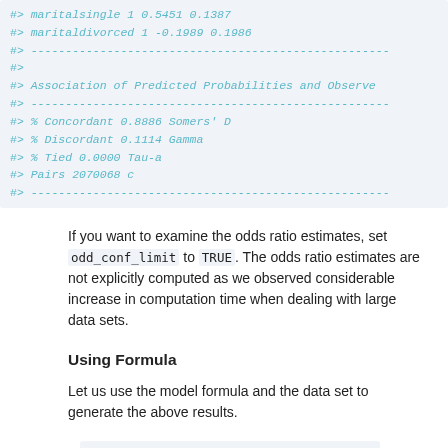#> maritalsingle   1   0.5451   0.1387
#> maritaldivorced   1   -0.1989   0.1986
#> --------------------------------------------------
#>
#>  Association of Predicted Probabilities and Observe
#> --------------------------------------------------
#> % Concordant   0.8886   Somers' D
#> % Discordant   0.1114   Gamma
#> % Tied   0.0000   Tau-a
#> Pairs   2070068   c
#> --------------------------------------------------
If you want to examine the odds ratio estimates, set odd_conf_limit to TRUE. The odds ratio estimates are not explicitly computed as we observed considerable increase in computation time when dealing with large data sets.
Using Formula
Let us use the model formula and the data set to generate the above results.
blr_regress(y ~  age + duration + previous + housing +
              loan + poutcome + job + marital, data = b